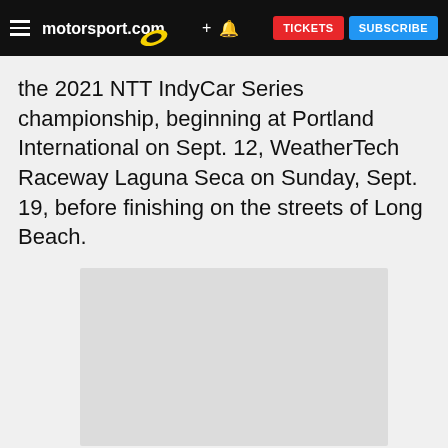motorsport.com | TICKETS | SUBSCRIBE
the 2021 NTT IndyCar Series championship, beginning at Portland International on Sept. 12, WeatherTech Raceway Laguna Seca on Sunday, Sept. 19, before finishing on the streets of Long Beach.
[Figure (photo): Gray placeholder image block]